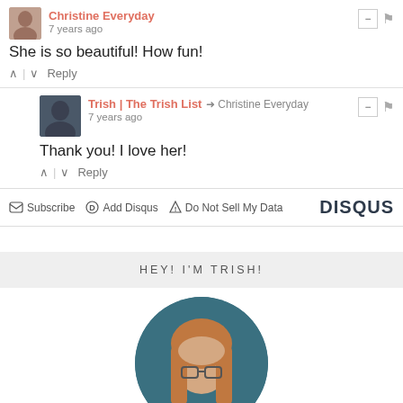Christine Everyday · 7 years ago
She is so beautiful! How fun!
Reply
Trish | The Trish List → Christine Everyday · 7 years ago
Thank you! I love her!
Reply
Subscribe  Add Disqus  Do Not Sell My Data  DISQUS
HEY! I'M TRISH!
[Figure (photo): Circular portrait photo of Trish with long red/auburn hair and glasses, teal/dark background]